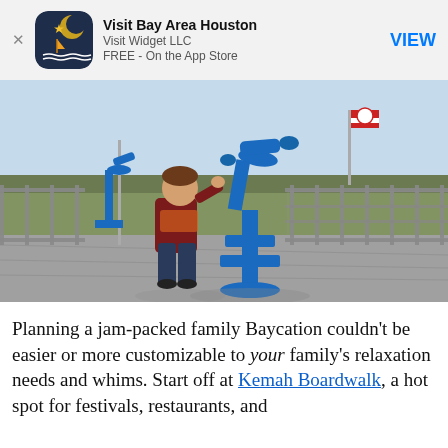[Figure (screenshot): App store banner for 'Visit Bay Area Houston' by Visit Widget LLC, FREE on the App Store, with a VIEW button.]
[Figure (photo): A young boy standing on a waterfront pier/boardwalk, looking through a large blue coin-operated telescope/viewfinder. The bay or ocean is visible in the background with choppy brown-green water. A red-and-white flag is visible in the background.]
Planning a jam-packed family Baycation couldn't be easier or more customizable to your family's relaxation needs and whims. Start off at Kemah Boardwalk, a hot spot for festivals, restaurants, and